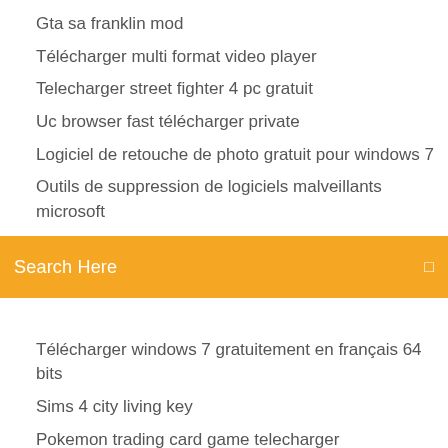Gta sa franklin mod
Télécharger multi format video player
Telecharger street fighter 4 pc gratuit
Uc browser fast télécharger private
Logiciel de retouche de photo gratuit pour windows 7
Outils de suppression de logiciels malveillants microsoft
[Figure (screenshot): Orange search bar with text 'Search Here' and a search icon on the right]
Télécharger windows 7 gratuitement en français 64 bits
Sims 4 city living key
Pokemon trading card game telecharger
Appli de rencontre gratuit 2019
Adobe flash player update service 31.0 r0
Jeux un mot 4 images
Code triche argent illimité gta 5 ps3
Copier mail outlook 2019 sur clé usb
Jeux a faire entre amis en ligne
Skate 3 pc crack télécharger